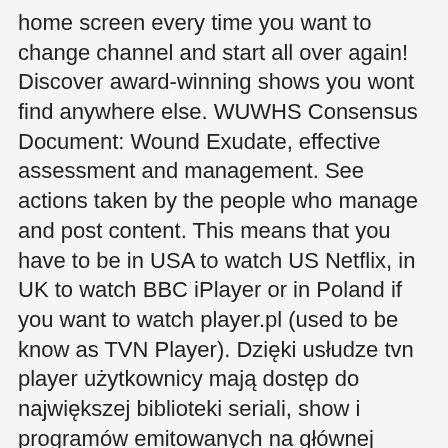home screen every time you want to change channel and start all over again! Discover award-winning shows you wont find anywhere else. WUWHS Consensus Document: Wound Exudate, effective assessment and management. See actions taken by the people who manage and post content. This means that you have to be in USA to watch US Netflix, in UK to watch BBC iPlayer or in Poland if you want to watch player.pl (used to be know as TVN Player). Dzięki usłudze tvn player użytkownicy mają dostęp do największej biblioteki seriali, show i programów emitowanych na głównej antenie stacji TVN oraz w kanałach tematycznych. Forget about it!!!! available on-demand via any of the TVPlayer supported devices. Crowley exited Player soon after and enjoyed a solo career as a country artist; the remaining trio issued Room with a View in 1980 before Moss and Friesen both departed as well. tvn player 1.0 tvn player jest nową platformą wideo na żądanie. View Pricing. The personal story behind the headlines - and the lasting impact on the man and the game. No listings so you have to literally